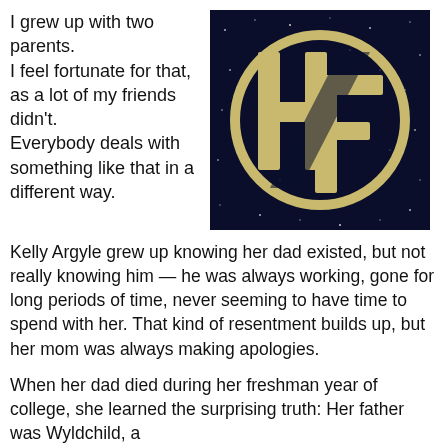I grew up with two parents.
I feel fortunate for that, as a lot of my friends didn't.
Everybody deals with something like that in a different way.
[Figure (logo): Logo featuring stylized letters H and F in gold/tan color inside a circle, on a dark blue starry background]
Kelly Argyle grew up knowing her dad existed, but not really knowing him — he was always working, gone for long periods of time, never seeming to have time to spend with her. That kind of resentment builds up, but her mom was always making apologies.
When her dad died during her freshman year of college, she learned the surprising truth: Her father was Wyldchild, a